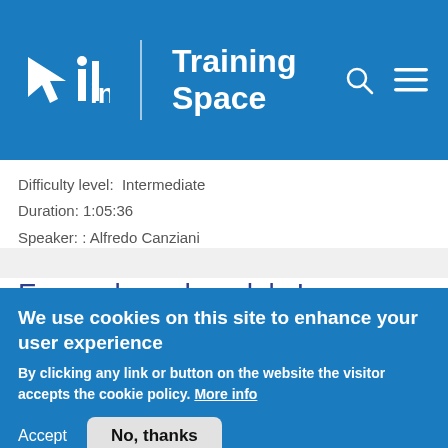incf | Training Space
Difficulty level: Intermediate
Duration: 1:05:36
Speaker: : Alfredo Canziani
Energy based models I
Course: Deep learning: Foundations of
[Figure (screenshot): Thumbnail image of a video lecture showing space/nebula background with text about latent variables: parametelize the set of predictions]
We use cookies on this site to enhance your user experience
By clicking any link or button on the website the visitor accepts the cookie policy. More info
Accept
No, thanks